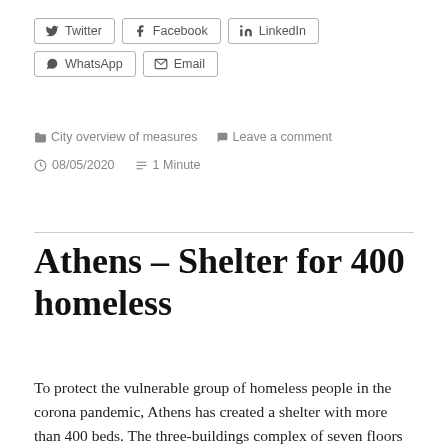[Figure (other): Social media share buttons: Twitter, Facebook, LinkedIn, WhatsApp, Email]
City overview of measures   Leave a comment
08/05/2020   1 Minute
Athens – Shelter for 400 homeless
To protect the vulnerable group of homeless people in the corona pandemic, Athens has created a shelter with more than 400 beds. The three-buildings complex of seven floors was opened in